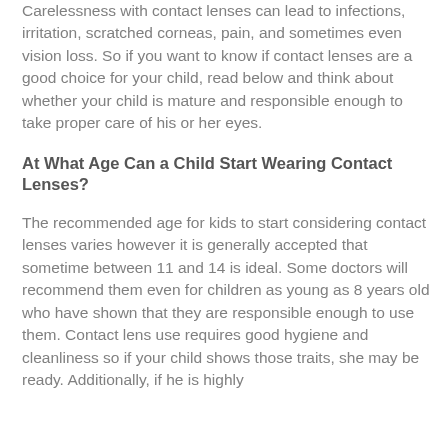Carelessness with contact lenses can lead to infections, irritation, scratched corneas, pain, and sometimes even vision loss. So if you want to know if contact lenses are a good choice for your child, read below and think about whether your child is mature and responsible enough to take proper care of his or her eyes.
At What Age Can a Child Start Wearing Contact Lenses?
The recommended age for kids to start considering contact lenses varies however it is generally accepted that sometime between 11 and 14 is ideal. Some doctors will recommend them even for children as young as 8 years old who have shown that they are responsible enough to use them. Contact lens use requires good hygiene and cleanliness so if your child shows those traits, she may be ready. Additionally, if he is highly